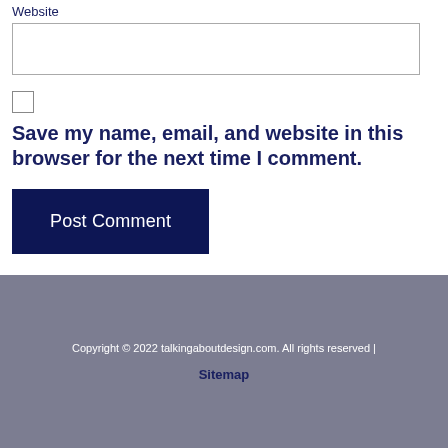Website
Save my name, email, and website in this browser for the next time I comment.
Post Comment
Copyright © 2022 talkingaboutdesign.com. All rights reserved | Sitemap